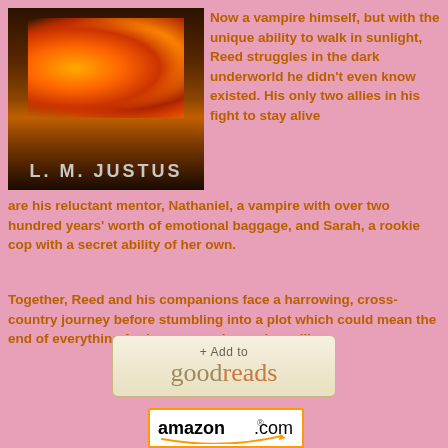[Figure (photo): Book cover for L. M. Justus showing fire/torches at night with the author name in bold letters at the bottom]
Now a vampire himself, but with the unique ability to walk in sunlight, Reed struggles in the dark underworld he didn't even know existed. His only two allies in his fight to stay alive are his reluctant mentor, Nathaniel, a vampire with over two hundred years' worth of emotional baggage, and Sarah, a rookie cop with a secret ability of her own.
Together, Reed and his companions face a harrowing, cross-country journey before stumbling into a plot which could mean the end of everything for humans and vampires alike.
[Figure (logo): Goodreads + Add to goodreads button]
[Figure (logo): amazon.com logo button]